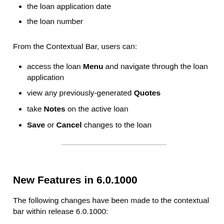the loan application date
the loan number
From the Contextual Bar, users can:
access the loan Menu and navigate through the loan application
view any previously-generated Quotes
take Notes on the active loan
Save or Cancel changes to the loan
New Features in 6.0.1000
The following changes have been made to the contextual bar within release 6.0.1000: